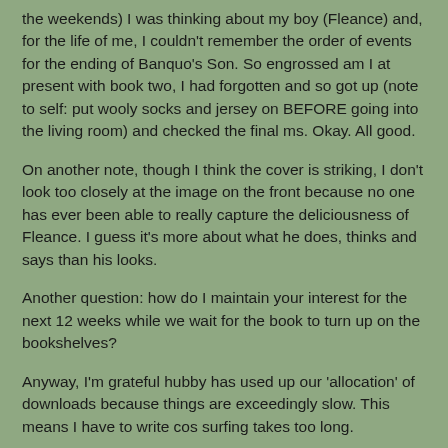the weekends) I was thinking about my boy (Fleance) and, for the life of me, I couldn't remember the order of events for the ending of Banquo's Son. So engrossed am I at present with book two, I had forgotten and so got up (note to self: put wooly socks and jersey on BEFORE going into the living room) and checked the final ms. Okay. All good.
On another note, though I think the cover is striking, I don't look too closely at the image on the front because no one has ever been able to really capture the deliciousness of Fleance. I guess it's more about what he does, thinks and says than his looks.
Another question: how do I maintain your interest for the next 12 weeks while we wait for the book to turn up on the bookshelves?
Anyway, I'm grateful hubby has used up our 'allocation' of downloads because things are exceedingly slow. This means I have to write cos surfing takes too long.
Back to the castle (where Henry has a very interest thesis as